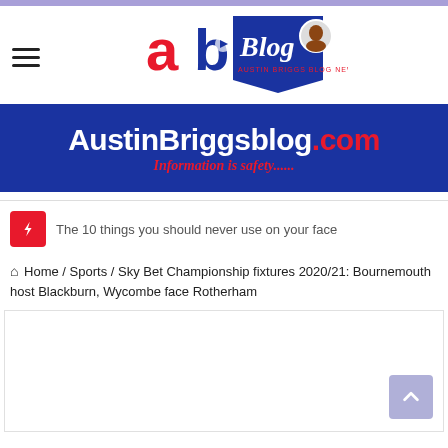[Figure (logo): Austin Briggs Blog (ab Blog) logo with red and blue design, AUSTIN BRIGGS BLOG NEWS text]
[Figure (infographic): Dark blue banner reading AustinBriggsblog.com with red .com and italic red tagline Information is safety......]
The 10 things you should never use on your face
Home / Sports / Sky Bet Championship fixtures 2020/21: Bournemouth host Blackburn, Wycombe face Rotherham